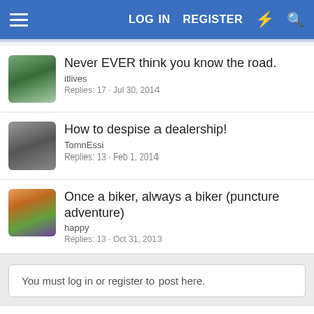LOG IN  REGISTER
Never EVER think you know the road. | itlives | Replies: 17 · Jul 30, 2014
How to despise a dealership! | TomnEssi | Replies: 13 · Feb 1, 2014
Once a biker, always a biker (puncture adventure) | happy | Replies: 13 · Oct 31, 2013
You must log in or register to post here.
< New Riders